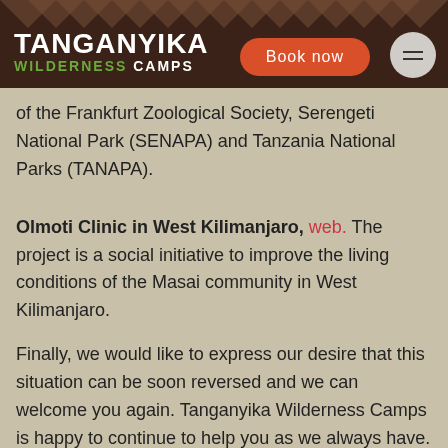TANGANYIKA WILDERNESS CAMPS
of the Frankfurt Zoological Society, Serengeti National Park (SENAPA) and Tanzania National Parks (TANAPA).
Olmoti Clinic in West Kilimanjaro, web. The project is a social initiative to improve the living conditions of the Masai community in West Kilimanjaro.
Finally, we would like to express our desire that this situation can be soon reversed and we can welcome you again. Tanganyika Wilderness Camps is happy to continue to help you as we always have.
Thanks for your confidence and we hope to see you soon